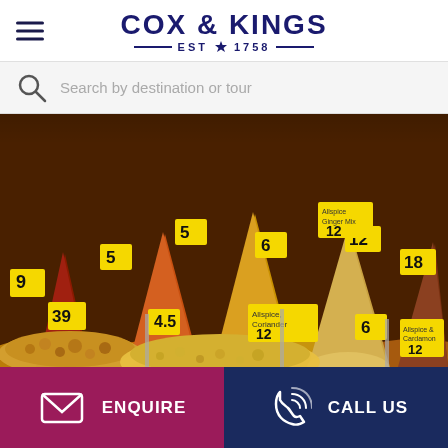COX & KINGS — EST 1758 —
Search by destination or tour
[Figure (photo): A colorful spice market display showing mounds of various spices and nuts arranged in cone/pyramid shapes with yellow price tags showing numbers like 5, 6, 9, 12, 4.5, 39.]
ENQUIRE
CALL US